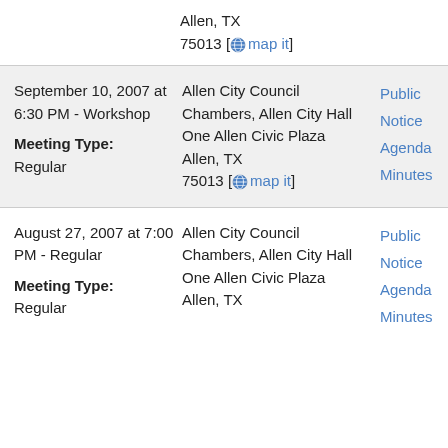Allen, TX
75013 [map it]
| Date/Type | Location | Links |
| --- | --- | --- |
| September 10, 2007 at 6:30 PM - Workshop
Meeting Type: Regular | Allen City Council Chambers, Allen City Hall
One Allen Civic Plaza
Allen, TX
75013 [map it] | Public Notice
Agenda
Minutes |
| August 27, 2007 at 7:00 PM - Regular
Meeting Type: Regular | Allen City Council Chambers, Allen City Hall
One Allen Civic Plaza
Allen, TX | Public Notice
Agenda
Minutes |